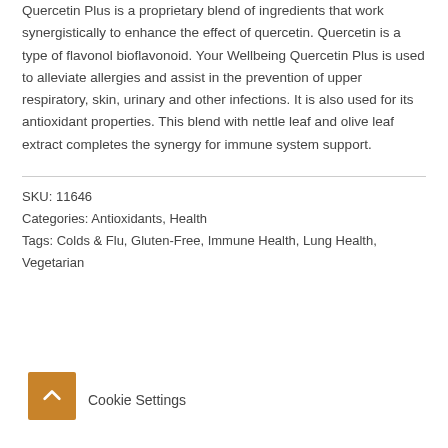Quercetin Plus is a proprietary blend of ingredients that work synergistically to enhance the effect of quercetin. Quercetin is a type of flavonol bioflavonoid. Your Wellbeing Quercetin Plus is used to alleviate allergies and assist in the prevention of upper respiratory, skin, urinary and other infections. It is also used for its antioxidant properties. This blend with nettle leaf and olive leaf extract completes the synergy for immune system support.
SKU: 11646
Categories: Antioxidants, Health
Tags: Colds & Flu, Gluten-Free, Immune Health, Lung Health, Vegetarian
[Figure (other): Orange back-to-top button with upward chevron arrow icon]
Cookie Settings